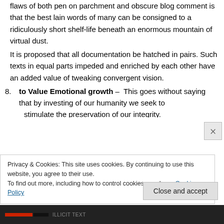flaws of both pen on parchment and obscure blog comment is that the best lain words of many can be consigned to a ridiculously short shelf-life beneath an enormous mountain of virtual dust.
It is proposed that all documentation be hatched in pairs. Such texts in equal parts impeded and enriched by each other have an added value of tweaking convergent vision.
8. to Value Emotional growth – This goes without saying that by investing of our humanity we seek to [partially visible]
Privacy & Cookies: This site uses cookies. By continuing to use this website, you agree to their use. To find out more, including how to control cookies, see here: Cookie Policy
Close and accept